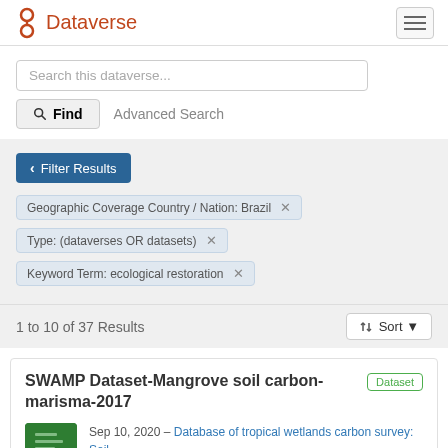Dataverse
Search this dataverse...
Find   Advanced Search
Filter Results
Geographic Coverage Country / Nation: Brazil ×
Type: (dataverses OR datasets) ×
Keyword Term: ecological restoration ×
1 to 10 of 37 Results
Sort
SWAMP Dataset-Mangrove soil carbon-marisma-2017
Dataset
Sep 10, 2020 – Database of tropical wetlands carbon survey: Soil
Kauffman, J.B.; Bernardino, A.F.; Ferreira, T.O.